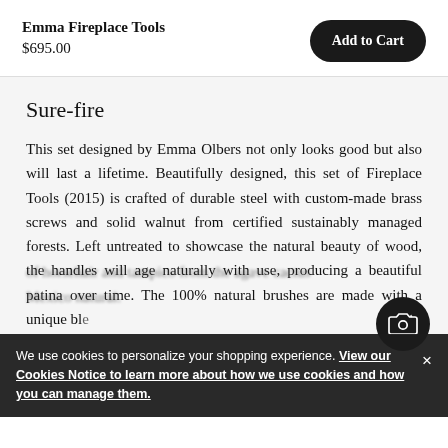Emma Fireplace Tools
$695.00
Add to Cart
Sure-fire
This set designed by Emma Olbers not only looks good but also will last a lifetime. Beautifully designed, this set of Fireplace Tools (2015) is crafted of durable steel with custom-made brass screws and solid walnut from certified sustainably managed forests. Left untreated to showcase the natural beauty of wood, the handles will age naturally with use, producing a beautiful patina over time. The 100% natural brushes are made with a unique ble of horsehair and tampico from the agave cactus Mexico natural.
We use cookies to personalize your shopping experience. View our Cookies Notice to learn more about how we use cookies and how you can manage them.